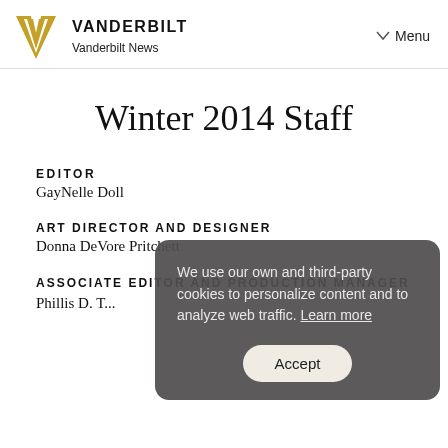VANDERBILT | Vanderbilt News | Menu
Winter 2014 Staff
EDITOR
GayNelle Doll
ART DIRECTOR AND DESIGNER
Donna DeVore Pritchett
ASSOCIATE EDITOR AND PRODUCTION MANAGER
Phillis...